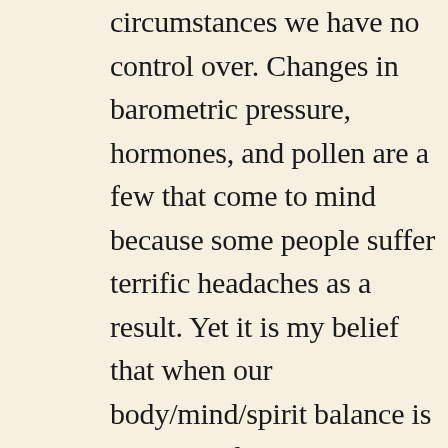circumstances we have no control over. Changes in barometric pressure, hormones, and pollen are a few that come to mind because some people suffer terrific headaches as a result. Yet it is my belief that when our body/mind/spirit balance is maintained, we can minimize or even eliminate the effects of these seeming troublemakers.

When our life–force energy is flowing harmoniously, our chakras and glands are vitalized and toxins are easily disposed of. Our immunity is functioning in top–gear